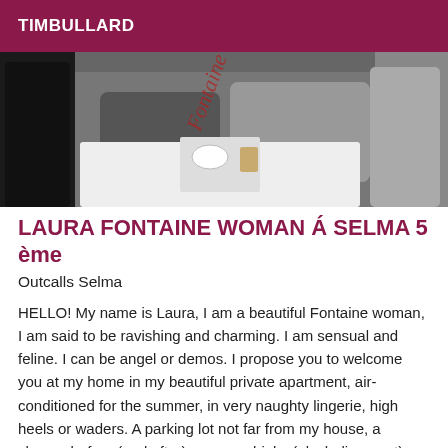TIMBULLARD
[Figure (photo): Photo of two women in lingerie on a bed with a breakfast tray]
LAURA FONTAINE WOMAN Á SELMA 5 ème
Outcalls Selma
HELLO! My name is Laura, I am a beautiful Fontaine woman, I am said to be ravishing and charming. I am sensual and feline. I can be angel or demos. I propose you to welcome you at my home in my beautiful private apartment, air-conditioned for the summer, in very naughty lingerie, high heels or waders. A parking lot not far from my house, a shower before (and after) our sex, drinks (alcoholic or not) ..... My services are intended only for polite, courteous, well educated gentlemen, with